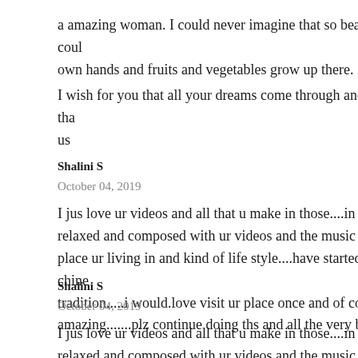a amazing woman. I could never imagine that so beautiful things could grow from own hands and fruits and vegetables grow up there.
I wish for you that all your dreams come through and many thanks tha... us
Shalini S
October 04, 2019
I jus love ur videos and all that u make in those....in these busy and st... relaxed and composed with ur videos and the music played in the bac... place ur living in and kind of life style....have started loving the chine... tradition.....i would.love visit ur place once and of course meet u in p... amazing.......plz continue doing ths and all the very best to watever u...
Shalini S
October 04, 2019
I jus love ur videos and all that u make in those....in these busy and st... relaxed and composed with ur videos and the music played in the bac... place ur living in and kind of life style....have started loving the chine... tradition.....i would.love visit ur place once and of course meet u in p...